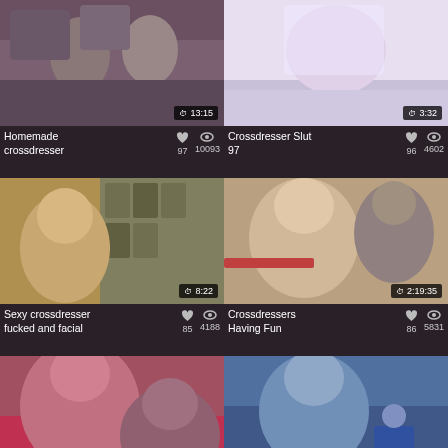[Figure (screenshot): Video thumbnail 1 - Homemade crossdresser, duration 13:15]
Homemade crossdresser  97  10093
[Figure (screenshot): Video thumbnail 2 - Crossdresser Slut 97, duration 3:32]
Crossdresser Slut 97  96  4602
[Figure (screenshot): Video thumbnail 3 - Sexy crossdresser fucked and facial, duration 8:22]
Sexy crossdresser fucked and facial  85  4188
[Figure (screenshot): Video thumbnail 4 - Crossdressers Having Fun, duration 2:19:35]
Crossdressers Having Fun  86  5831
[Figure (screenshot): Video thumbnail 5 - Delicious latina, duration 12:57]
Delicious latina
[Figure (screenshot): Video thumbnail 6 - Sissy, duration 2:1:30]
Sissy